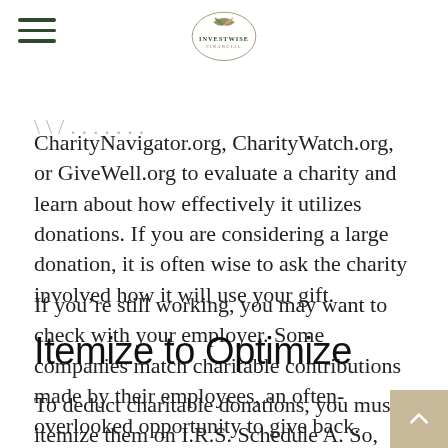InvestWise Financial (logo)
CharityNavigator.org, CharityWatch.org, or GiveWell.org to evaluate a charity and learn about how effectively it utilizes donations. If you are considering a large donation, it is often wise to ask the charity involved how it will use your gift.
If you’re still working, you may want to check with your employer. Some companies match charitable contributions made by their employees, an often-overlooked opportunity to give back.
Itemize to Optimize
To deduct charitable donations, you must itemize them on I.R.S. Schedule A. So, you’ll need to log